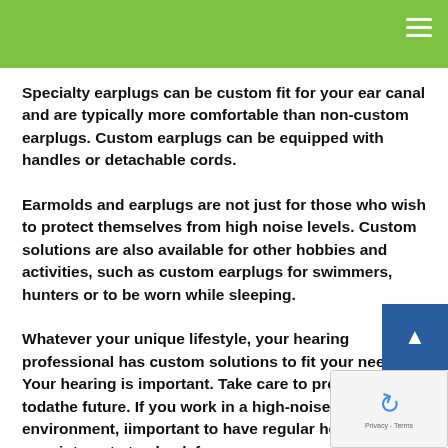Specialty earplugs can be custom fit for your ear canal and are typically more comfortable than non-custom earplugs. Custom earplugs can be equipped with handles or detachable cords.
Earmolds and earplugs are not just for those who wish to protect themselves from high noise levels. Custom solutions are also available for other hobbies and activities, such as custom earplugs for swimmers, hunters or to be worn while sleeping.
Whatever your unique lifestyle, your hearing professional has custom solutions to fit your needs. Your hearing is important. Take care to protect it for toda... the future. If you work in a high-noise environment, i... important to have regular hearing appointments to check for